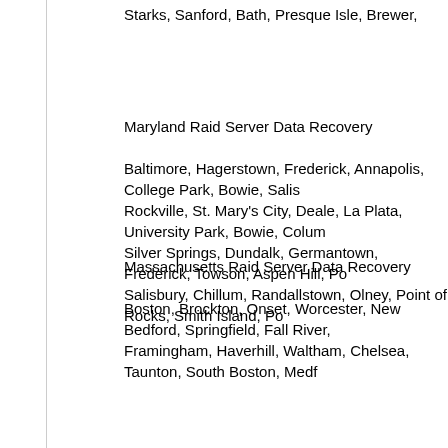Starks, Sanford, Bath, Presque Isle, Brewer,
Maryland Raid Server Data Recovery
Baltimore, Hagerstown, Frederick, Annapolis, College Park, Bowie, Salisbury, Rockville, St. Mary's City, Deale, La Plata, University Park, Bowie, Columbia, Silver Springs, Dundalk, Germantown, Frederick, Towson, Aspen Hill, Potomac, Salisbury, Chillum, Randallstown, Olney, Point of Rocks, Smith Island, Poolesville,
Massachusetts Raid Server Data Recovery
Boston, Brockton, Onset, Worcester, New Bedford, Springfield, Fall River, Framingham, Haverhill, Waltham, Chelsea, Taunton, South Boston, Medford,
Michigan Raid Server Data Recovery
Ann Arbor, Detroit, Frontier, Grand Rapids, Empire, Lansing, Ashley, Warren, Hills, Troy, Southfield, Kalamazoo, Canton, Waterford, Wyoming, Saginaw, Taylor, Redford, Royal Oak,
Minnesota Raid Server Data Recovery